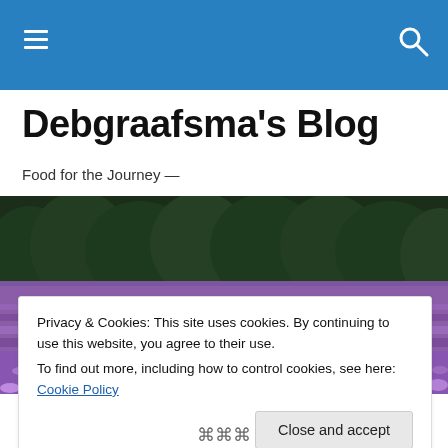Debgraafsma's Blog — navigation bar with hamburger menu and search icon
Debgraafsma's Blog
Food for the Journey —
[Figure (photo): Wide panoramic photo of a lavender field in full bloom with dark green forest/trees in the background]
Privacy & Cookies: This site uses cookies. By continuing to use this website, you agree to their use. To find out more, including how to control cookies, see here: Cookie Policy Close and accept